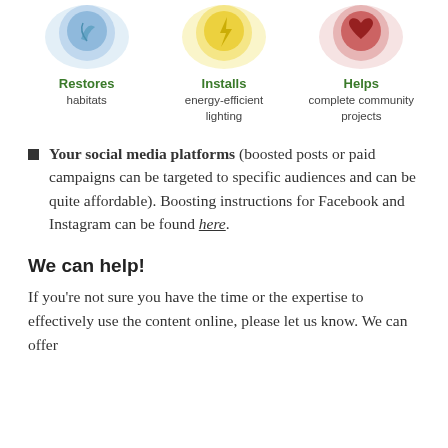[Figure (infographic): Three circular icon illustrations at top: first (blue) labeled 'Restores habitats', second (yellow) labeled 'Installs energy-efficient lighting', third (red) labeled 'Helps complete community projects']
Restores habitats
Installs energy-efficient lighting
Helps complete community projects
Your social media platforms (boosted posts or paid campaigns can be targeted to specific audiences and can be quite affordable). Boosting instructions for Facebook and Instagram can be found here.
We can help!
If you're not sure you have the time or the expertise to effectively use the content online, please let us know. We can offer